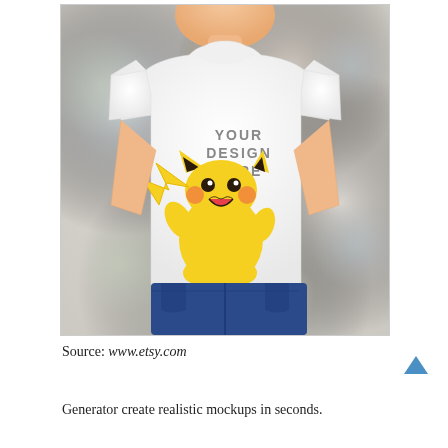[Figure (photo): A young boy wearing a white t-shirt with 'YOUR DESIGN HERE' text and a Pikachu cartoon character on it, with hands in jeans pockets, photographed against a blurred bokeh background.]
Source: www.etsy.com
Generator create realistic mockups in seconds.